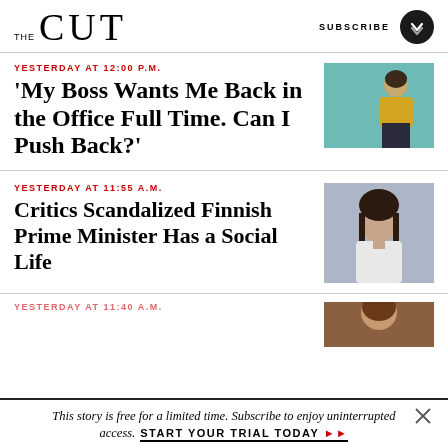THE CUT
YESTERDAY AT 12:00 P.M.
'My Boss Wants Me Back in the Office Full Time. Can I Push Back?'
[Figure (photo): Woman in yellow sweater looking away from camera in an office setting]
YESTERDAY AT 11:55 A.M.
Critics Scandalized Finnish Prime Minister Has a Social Life
[Figure (photo): Portrait of the Finnish Prime Minister, a young woman with dark hair, in a formal setting]
YESTERDAY AT 11:40 A.M.
[Figure (photo): Partial image of a person, partially cropped]
This story is free for a limited time. Subscribe to enjoy uninterrupted access.
START YOUR TRIAL TODAY